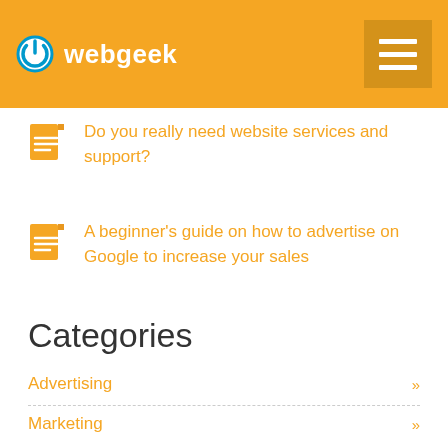webgeek
Do you really need website services and support?
A beginner's guide on how to advertise on Google to increase your sales
Categories
Advertising »
Marketing »